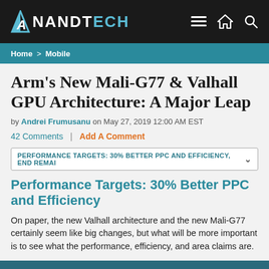AnandTech
Home > Mobile
Arm's New Mali-G77 & Valhall GPU Architecture: A Major Leap
by Andrei Frumusanu on May 27, 2019 12:00 AM EST
42 Comments | Add A Comment
PERFORMANCE TARGETS: 30% BETTER PPC AND EFFICIENCY, END REMAI
Performance Targets: 30% Better PPC and Efficiency
On paper, the new Valhall architecture and the new Mali-G77 certainly seem like big changes, but what will be more important is to see what the performance, efficiency, and area claims are.